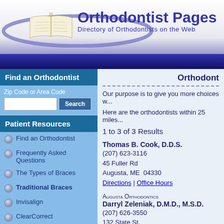[Figure (logo): Orthodontist Pages logo with open book and blue oval swoosh]
Orthodontist Pages
Directory of Orthodontists on the Web
Find an Orthodontist
Zip Code or Area Code
Patient Resources
Find an Orthodontist
Frequently Asked Questions
The Types of Braces
Traditional Braces
Invisalign
ClearCorrect
Self Ligating
Orthodont...
Our purpose is to give you more choices w...
Here are the orthodontists within 25 miles...
1 to 3 of 3 Results
Thomas B. Cook, D.D.S.
(207) 623-3116
45 Fuller Rd
Augusta, ME  04330
Directions | Office Hours
Augusta Orthodontics
Darryl Zeleniak, D.M.D., M.S.D.
(207) 626-3550
132 State St.
Augusta, ME  04330
Directions | Office Hours